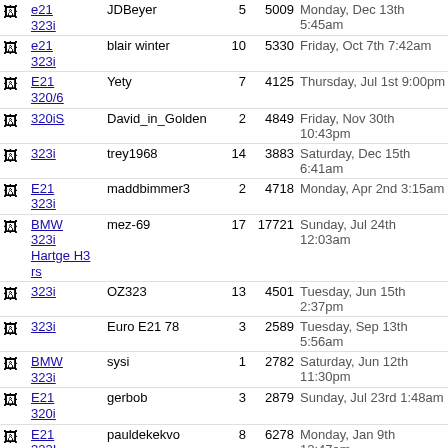| Icon | Topic | User | Replies | Views | Last Post |
| --- | --- | --- | --- | --- | --- |
| [img] | e21 323i | JDBeyer | 5 | 5009 | Monday, Dec 13th 5:45am |
| [img] | e21 323i | blair winter | 10 | 5330 | Friday, Oct 7th 7:42am |
| [img] | E21 320/6 | Yety | 7 | 4125 | Thursday, Jul 1st 9:00pm |
| [img] | 320iS | David_in_Golden | 2 | 4849 | Friday, Nov 30th 10:43pm |
| [img] | 323i | trey1968 | 14 | 3883 | Saturday, Dec 15th 6:41am |
| [img] | E21 323i | maddbimmer3 | 2 | 4718 | Monday, Apr 2nd 3:15am |
| [img] | BMW 323i Hartge H3 rs | mez-69 | 17 | 17721 | Sunday, Jul 24th 12:03am |
| [img] | 323i | OZ323 | 13 | 4501 | Tuesday, Jun 15th 2:37pm |
| [img] | 323i | Euro E21 78 | 3 | 2589 | Tuesday, Sep 13th 5:56am |
| [img] | BMW 323i | sysi | 1 | 2782 | Saturday, Jun 12th 11:30pm |
| [img] | E21 320i | gerbob | 3 | 2879 | Sunday, Jul 23rd 1:48am |
| [img] | E21 323I | pauldekekvo | 8 | 6278 | Monday, Jan 9th 12:47am |
| [img] | e21 323i | beemerboy | 4 | 5298 | Wednesday, Jul 14th 3:16pm |
| [img] | Hartge H3 E21 | hartgeE21H3 | 1 | 2478 | Friday, May 4th 1:43pm |